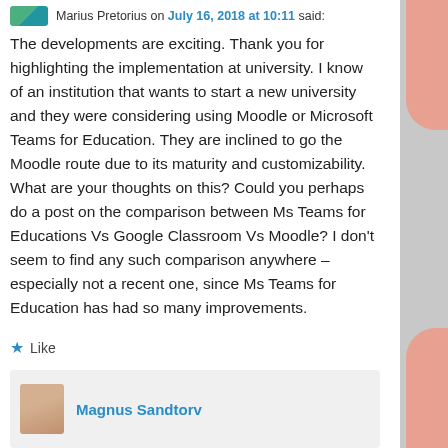Marius Pretorius on July 16, 2018 at 10:11 said:
The developments are exciting. Thank you for highlighting the implementation at university. I know of an institution that wants to start a new university and they were considering using Moodle or Microsoft Teams for Education. They are inclined to go the Moodle route due to its maturity and customizability. What are your thoughts on this? Could you perhaps do a post on the comparison between Ms Teams for Educations Vs Google Classroom Vs Moodle? I don't seem to find any such comparison anywhere – especially not a recent one, since Ms Teams for Education has had so many improvements.
★ Like
Reply ↓
Magnus Sandtorv